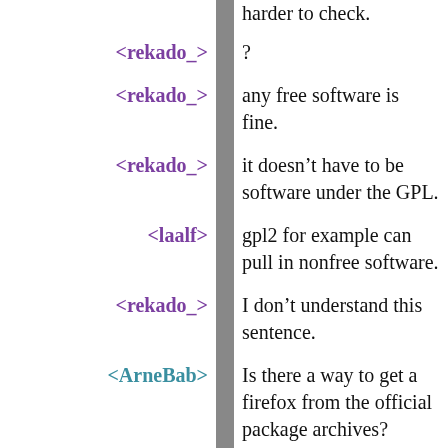harder to check.
<rekado_>  ?
<rekado_>  any free software is fine.
<rekado_>  it doesn't have to be software under the GPL.
<laalf>  gpl2 for example can pull in nonfree software.
<rekado_>  I don't understand this sentence.
<ArneBab>  Is there a way to get a firefox from the official package archives?
<laalf>  rekado_: linux for